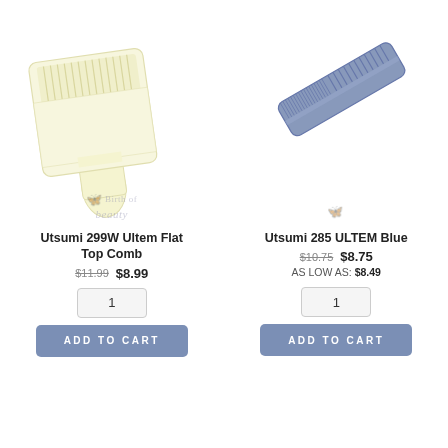[Figure (photo): Utsumi 299W Ultem Flat Top Comb - cream/white colored flat top hair comb with handle, shown at slight angle]
[Figure (photo): Utsumi 285 ULTEM Blue - blue/grey barber comb shown at diagonal angle]
Utsumi 299W Ultem Flat Top Comb
$11.99   $8.99
1
ADD TO CART
Utsumi 285 ULTEM Blue
$10.75   $8.75
AS LOW AS: $8.49
1
ADD TO CART